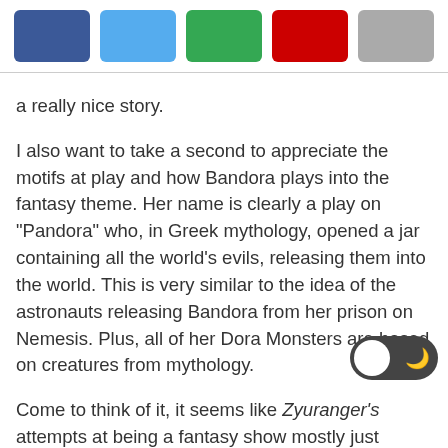[Figure (other): Row of five social share buttons: dark blue (Facebook), light blue (Twitter), green (Google+), red (Pinterest), gray (more/share)]
a really nice story.
I also want to take a second to appreciate the motifs at play and how Bandora plays into the fantasy theme. Her name is clearly a play on "Pandora" who, in Greek mythology, opened a jar containing all the world's evils, releasing them into the world. This is very similar to the idea of the astronauts releasing Bandora from her prison on Nemesis. Plus, all of her Dora Monsters are based on creatures from mythology.
Come to think of it, it seems like Zyuranger's attempts at being a fantasy show mostly just involve characters being lifted from fantasy settings and mixed into the modern era. It's always strange when the show tries to blend a fantasy plot into the main story. It usually just involves the